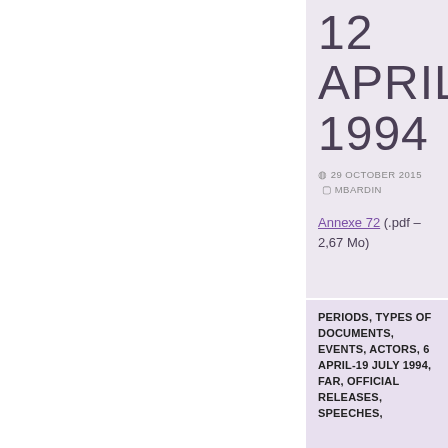12 APRIL 1994
29 OCTOBER 2015  MBARDIN
Annexe 72 (.pdf – 2,67 Mo)
PERIODS, TYPES OF DOCUMENTS, EVENTS, ACTORS, 6 APRIL-19 JULY 1994, FAR, OFFICIAL RELEASES, SPEECHES,